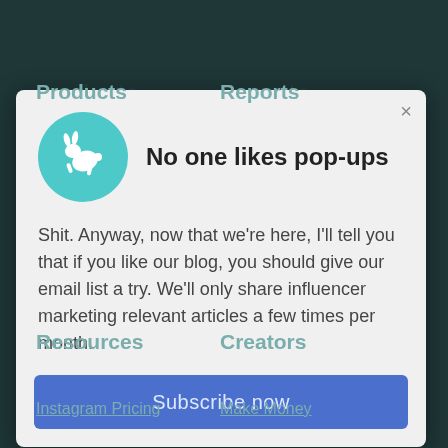[Figure (screenshot): Website navigation background with dark teal overlay showing Products, Reports, Resources, Creators menu items and link text]
No one likes pop-ups
Shit. Anyway, now that we're here, I'll tell you that if you like our blog, you should give our email list a try. We'll only share influencer marketing relevant articles a few times per month.
Subscribe now